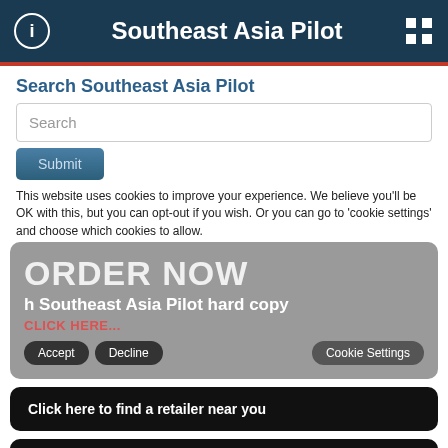Southeast Asia Pilot
Search Southeast Asia Pilot
Search
Submit
This website uses cookies to improve your experience. We believe you'll be OK with this, but you can opt-out if you wish. Or you can go to 'cookie settings' and choose which cookies to allow.
ORDER NOW
h Southeast Asia Pilot hard copy
CLICK HERE...
Accept
Decline
Cookie Settings
Click here to find a retailer near you
GO DIGITAL
Get Southeast Asia Pilot eBOOK
CLICK HERE TO ORDER...